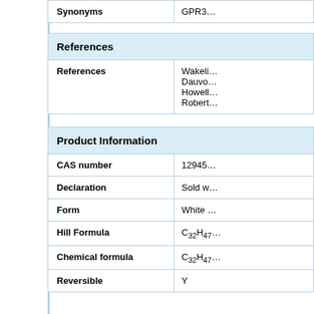|  |  |
| --- | --- |
| Synonyms | GPR3… |
| References |  |
| --- | --- |
| References | Wakeli…
Dauvo…
Howell…
Robert… |
| Product Information |  |
| --- | --- |
| CAS number | 12945… |
| Declaration | Sold w… |
| Form | White … |
| Hill Formula | C₃₂H₄₇… |
| Chemical formula | C₃₂H₄₇… |
| Reversible | Y |